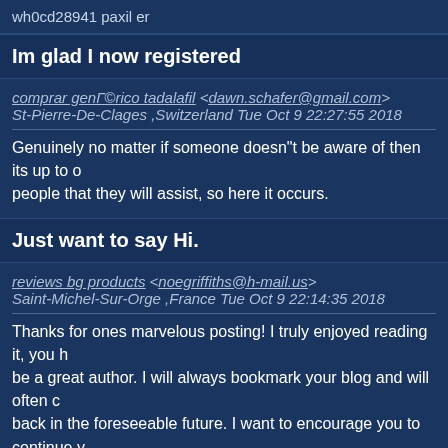wh0cd28941 paxil er
Im glad I now registered
comprar genГ©rico tadalafil <dawn.schafer@gmail.com> St-Pierre-De-Clages ,Switzerland Tue Oct 9 22:27:55 2018
Genuinely no matter if someone doesn"t be aware of then its up to other people that they will assist, so here it occurs.
Just want to say Hi.
reviews bg products <noegriffiths@h-mail.us> Saint-Michel-Sur-Orge ,France Tue Oct 9 22:14:35 2018
Thanks for ones marvelous posting! I truly enjoyed reading it, you h be a great author. I will always bookmark your blog and will often c back in the foreseeable future. I want to encourage you to continue y great writing, have a nice afternoon!
Striptease Watch now